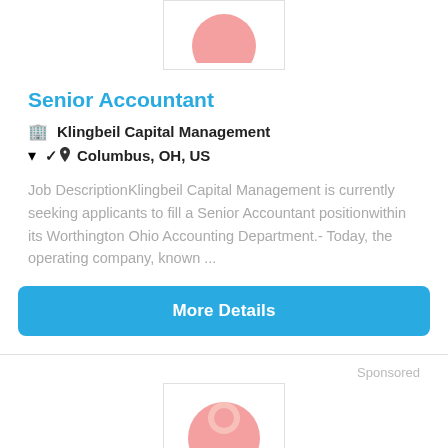[Figure (logo): Company logo placeholder with pink/salmon circle icon, partially visible at top]
Senior Accountant
🏢 Klingbeil Capital Management
📍 Columbus, OH, US
Job DescriptionKlingbeil Capital Management is currently seeking applicants to fill a Senior Accountant positionwithin its Worthington Ohio Accounting Department.- Today, the operating company, known ...
More Details
Sponsored
[Figure (logo): Company logo placeholder with pink/salmon circle and figure icon, partially visible at bottom]